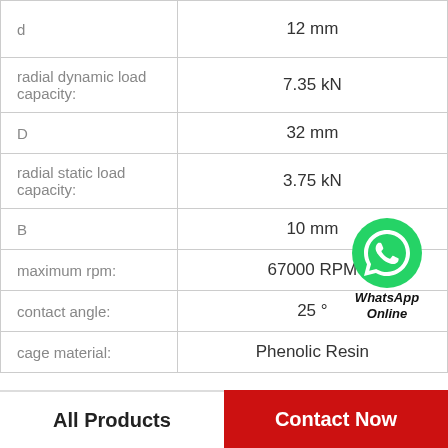| Property | Value |
| --- | --- |
| d | 12 mm |
| radial dynamic load capacity: | 7.35 kN |
| D | 32 mm |
| radial static load capacity: | 3.75 kN |
| B | 10 mm |
| maximum rpm: | 67000 RPM |
| contact angle: | 25 ° |
| cage material: | Phenolic Resin |
[Figure (logo): WhatsApp contact bubble with green icon and 'WhatsApp Online' label]
All Products
Contact Now